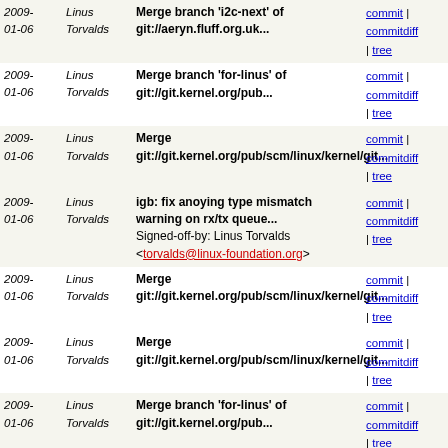| Date | Author | Commit message | Links |
| --- | --- | --- | --- |
| 2009-
01-06 | Linus
Torvalds | Merge branch 'i2c-next' of git://aeryn.fluff.org.uk... | commit | commitdiff | tree |
| 2009-
01-06 | Linus
Torvalds | Merge branch 'for-linus' of git://git.kernel.org/pub... | commit | commitdiff | tree |
| 2009-
01-06 | Linus
Torvalds | Merge git://git.kernel.org/pub/scm/linux/kernel/git... | commit | commitdiff | tree |
| 2009-
01-06 | Linus
Torvalds | igb: fix anoying type mismatch warning on rx/tx queue...
Signed-off-by: Linus Torvalds <torvalds@linux-foundation.org> | commit | commitdiff | tree |
| 2009-
01-06 | Linus
Torvalds | Merge git://git.kernel.org/pub/scm/linux/kernel/git... | commit | commitdiff | tree |
| 2009-
01-06 | Linus
Torvalds | Merge git://git.kernel.org/pub/scm/linux/kernel/git... | commit | commitdiff | tree |
| 2009-
01-06 | Linus
Torvalds | Merge branch 'for-linus' of git://git.kernel.org/pub... | commit | commitdiff | tree |
| 2009-
01-06 | Linus
Torvalds | Merge branch 'next' of git://git.kernel.org/pub/scm... | commit | commitdiff | tree |
| 2009-
01-06 | Linus
Torvalds | Merge branch 'upstream-linus' of git://git.kernel.org... | commit | commitdiff | tree |
| 2009-
01-06 | Linus
Torvalds | Merge branch 'for-linus' of git://git.kernel.org/pub... | commit | commitdiff | tree |
| 2009-
01-05 | Linus
Torvalds | Merge branch 'audit.b61' of git://git.kernel.org/pub... | commit | commitdiff | tree |
| 2009-
01-03 | Linus
Torvalds | Merge branch 'cpus4096-for-linus-3' of git://git.kernel... | commit | commitdiff | tree |
| 2009- | Linus | Merge branch 'for-linus' of | commit | commitdiff |